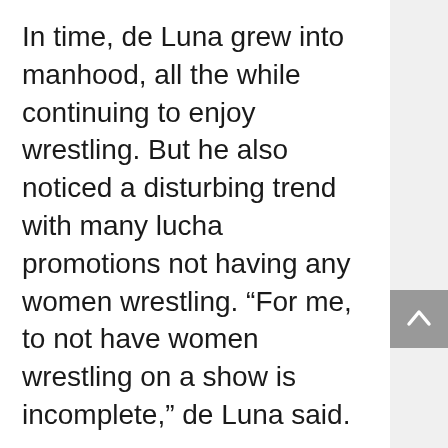In time, de Luna grew into manhood, all the while continuing to enjoy wrestling. But he also noticed a disturbing trend with many lucha promotions not having any women wrestling. “For me, to not have women wrestling on a show is incomplete,” de Luna said.
After graduating from school, de Luna set out into the business world, running various businesses while also working as a civil servant. Among those ventures he chose to pursue was promoting wrestling. Needless to say, de Luna wanted to ensure that